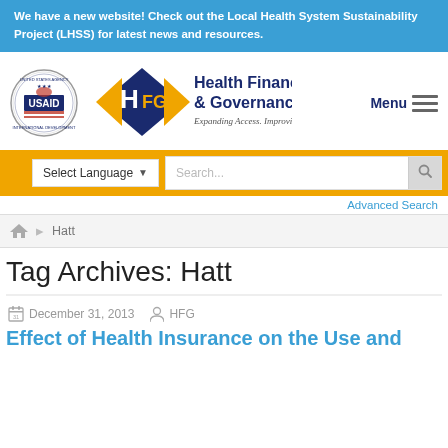We have a new website! Check out the Local Health System Sustainability Project (LHSS) for latest news and resources.
[Figure (logo): USAID seal and Health Finance & Governance logo with tagline 'Expanding Access. Improving Health.']
Menu
Select Language
Search...
Advanced Search
Hatt
Tag Archives: Hatt
December 31, 2013   HFG
Effect of Health Insurance on the Use and...